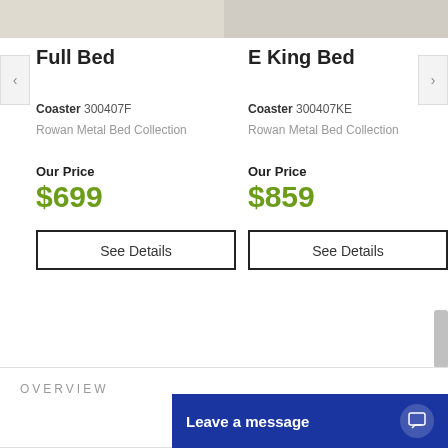[Figure (photo): Top portion of two bed product photos cropped at top]
Full Bed
Coaster 300407F
Rowan Metal Bed Collection
Our Price
$699
See Details
E King Bed
Coaster 300407KE
Rowan Metal Bed Collection
Our Price
$859
See Details
OVERVIEW
Leave a message